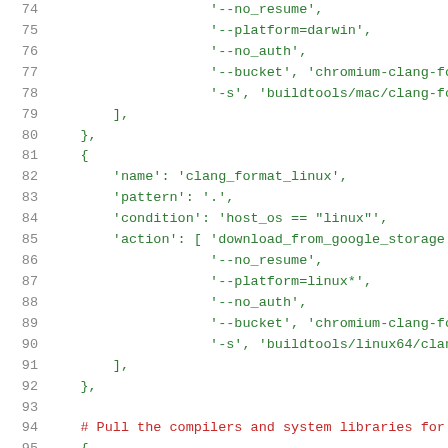Source code listing lines 74-95, Python/config file with clang_format_linux configuration and Google Storage download actions